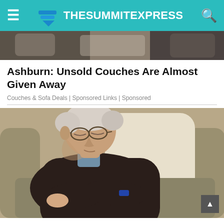TheSummitExpress
[Figure (photo): Partial view of a couch/sofa — top image strip showing furniture]
Ashburn: Unsold Couches Are Almost Given Away
Couches & Sofa Deals | Sponsored Links | Sponsored
[Figure (photo): Elderly man sleeping in an armchair with arms crossed, wearing dark sweater and glasses]
What Causes Excessive Daytime Sleepiness?